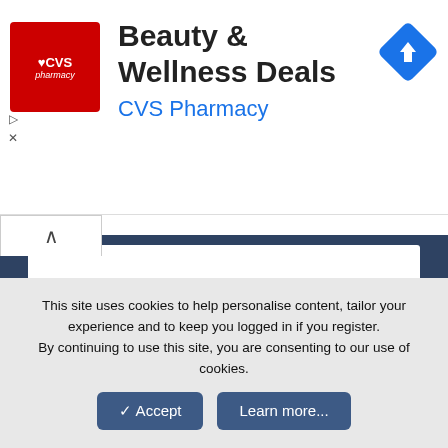[Figure (infographic): CVS Pharmacy advertisement banner with red CVS pharmacy logo on left, 'Beauty & Wellness Deals' title in bold black, 'CVS Pharmacy' subtitle in blue, and a blue diamond navigation arrow icon on the right]
Our Sites
Vista Forums
Seven Forums
Ten Forums
Eleven Forums
About Us
This site uses cookies to help personalise content, tailor your experience and to keep you logged in if you register.
By continuing to use this site, you are consenting to our use of cookies.